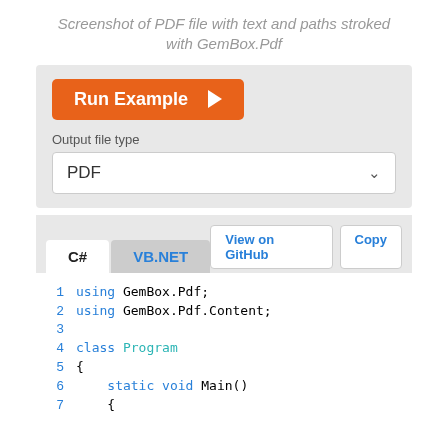Screenshot of PDF file with text and paths stroked with GemBox.Pdf
[Figure (screenshot): UI panel with Run Example button, Output file type dropdown set to PDF, C# and VB.NET tabs with View on GitHub and Copy buttons, and a code editor showing C# code lines 1-7]
1   using GemBox.Pdf;
2   using GemBox.Pdf.Content;
3
4   class Program
5   {
6       static void Main()
7       {